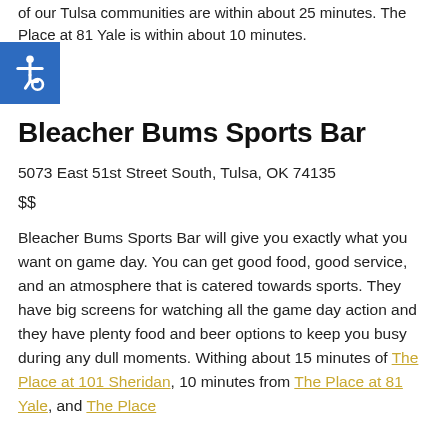of our Tulsa communities are within about 25 minutes. The Place at 81 Yale is within about 10 minutes.
Bleacher Bums Sports Bar
5073 East 51st Street South, Tulsa, OK 74135
$$
Bleacher Bums Sports Bar will give you exactly what you want on game day. You can get good food, good service, and an atmosphere that is catered towards sports. They have big screens for watching all the game day action and they have plenty food and beer options to keep you busy during any dull moments. Withing about 15 minutes of The Place at 101 Sheridan, 10 minutes from The Place at 81 Yale, and The Place